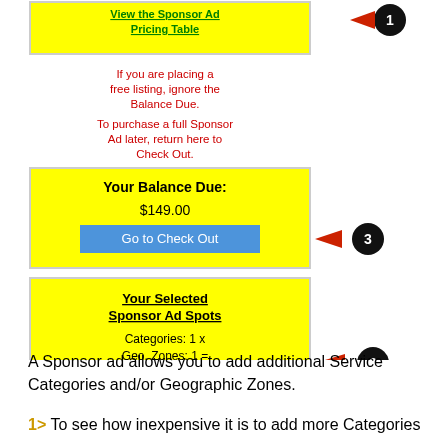[Figure (screenshot): Screenshot of a sponsor ad pricing interface with yellow boxes showing: a green link 'View the Sponsor Ad Pricing Table', red instructional text about free listings and Balance Due, a yellow box with 'Your Balance Due: $149.00' and a blue 'Go to Check Out' button (labeled with arrow circle 3), and a yellow box with 'Your Selected Sponsor Ad Spots', 'Categories: 1 x Geo. Zones: 1 = Spots Selected: 1', 'Your Sponsor Ad Expires on: Jun-03-2020', 'Balance Due: $149.00' (labeled with arrow circle 2). Arrow circle 1 points to top green link button.]
A Sponsor ad allows you to add additional Service Categories and/or Geographic Zones.
1> To see how inexpensive it is to add more Categories